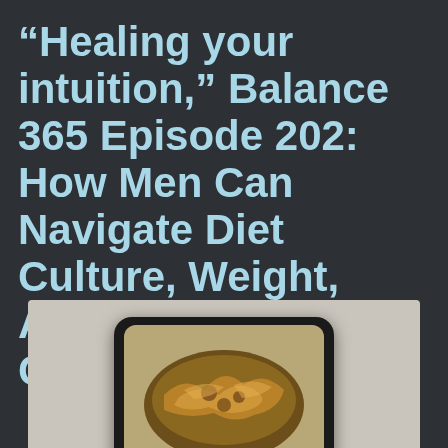“Healing your intuition,” Balance 365 Episode 202: How Men Can Navigate Diet Culture, Weight, And Wellness with Chris McMahon
[Figure (photo): A smartphone showing food content on its screen, partially visible at the bottom of the page against a light beige/gray background]